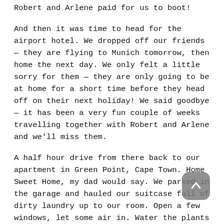Robert and Arlene paid for us to boot!
And then it was time to head for the airport hotel. We dropped off our friends — they are flying to Munich tomorrow, then home the next day. We only felt a little sorry for them — they are only going to be at home for a short time before they head off on their next holiday! We said goodbye — it has been a very fun couple of weeks travelling together with Robert and Arlene and we'll miss them.
A half hour drive from there back to our apartment in Green Point, Cape Town. Home Sweet Home, my dad would say. We parked in the garage and hauled our suitcase full of dirty laundry up to our room. Open a few windows, let some air in. Water the plants on the balcony. Make a grocery list. Watch a bit of TV. Listen to the action down on the street below.
At 6:30 we went out to “Wooly’s”, the grocery store down the street, and came back with two big bags of supplies. Then I went to the “Big Route” pizza place around the corner and br back another of those great-tasting pizzas. Supper at c . A clink of our glasses, “Pula!”, with a nod to Robert and Arlene who taught us that toast.